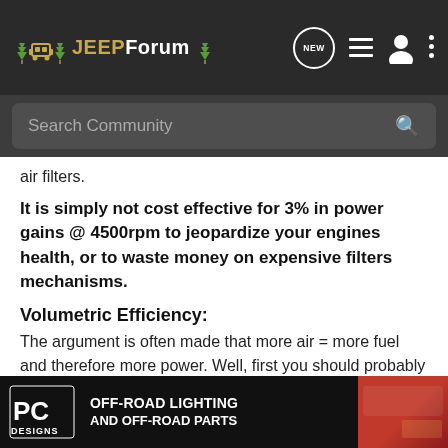JEEPForum — navigation bar with Search Community
air filters.
It is simply not cost effective for 3% in power gains @ 4500rpm to jeopardize your engines health, or to waste money on expensive filters mechanisms.
Volumetric Efficiency:
The argument is often made that more air = more fuel and therefore more power. Well, first you should probably know the air requirement of the engine, so you can actually determine if the air intake is somehow restrictive. Engine Air Flow requirements are measured in CFM (cubic feet per minute)
Calcula…y
[Figure (screenshot): DC Designs advertisement banner: OFF-ROAD LIGHTING AND OFF-ROAD PARTS with logo and red vehicle image]